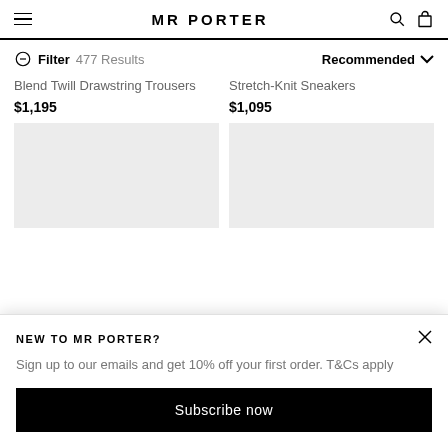MR PORTER
Filter  477 Results  Recommended
Blend Twill Drawstring Trousers
$1,195
Stretch-Knit Sneakers
$1,095
[Figure (other): Two product image placeholders (grey rectangles)]
NEW TO MR PORTER?
Sign up to our emails and get 10% off your first order. T&Cs apply
Subscribe now